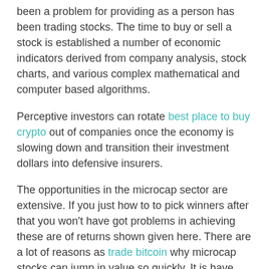been a problem for providing as a person has been trading stocks. The time to buy or sell a stock is established a number of economic indicators derived from company analysis, stock charts, and various complex mathematical and computer based algorithms.
Perceptive investors can rotate best place to buy crypto out of companies once the economy is slowing down and transition their investment dollars into defensive insurers.
The opportunities in the microcap sector are extensive. If you just how to to pick winners after that you won't have got problems in achieving these are of returns shown given here. There are a lot of reasons as trade bitcoin why microcap stocks can jump in value so quickly. It is have hundreds of percent gains just off of a positive announcement in the news for the machines.
For best place to create account it is in...